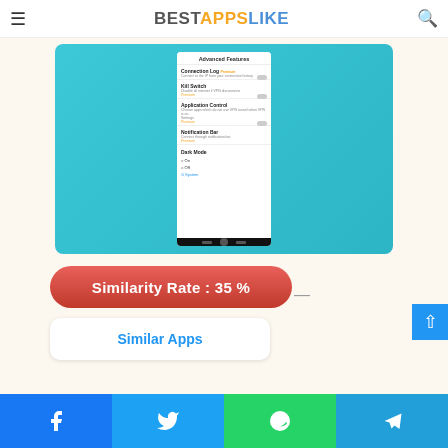BESTAPPSLIKE
[Figure (screenshot): Mobile app screenshot showing Advanced Features settings screen with Connection Log, Kill Switch, Application Control, Notification Bar options and Dark Mode toggle]
Similarity Rate : 35 %
Similar Apps
Facebook, Twitter, WhatsApp, Telegram share buttons